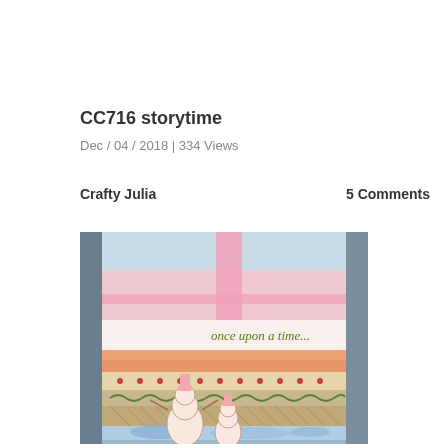CC716 storytime
Dec / 04 / 2018 | 334 Views
Crafty Julia
5 Comments
[Figure (photo): A handmade decorative box or card with a pink lid and ribbon on top, featuring the text 'once upon a time...' in green script, decorative bands with orange zigzag pattern, beige with red dots, green loops, and blue watercolor splashes at the bottom, with two snowman figures on the front.]